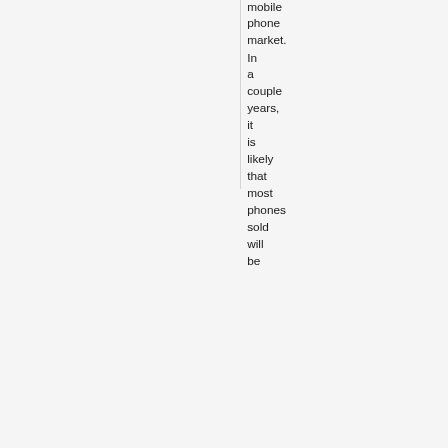mobile phone market. In a couple years, it is likely that most phones sold will be